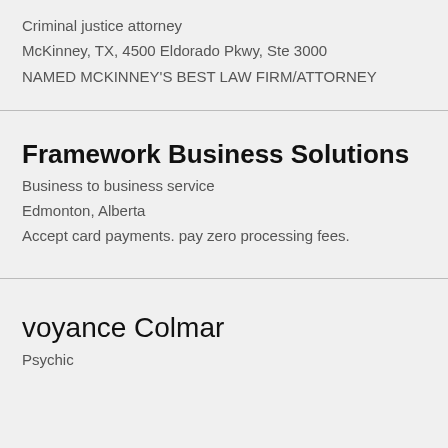Criminal justice attorney
McKinney, TX, 4500 Eldorado Pkwy, Ste 3000
NAMED MCKINNEY'S BEST LAW FIRM/ATTORNEY
Framework Business Solutions
Business to business service
Edmonton, Alberta
Accept card payments. pay zero processing fees.
voyance Colmar
Psychic